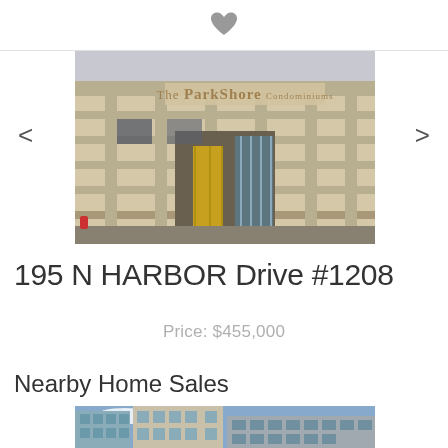[Figure (photo): Heart/favorite icon (filled gray heart shape) at top center of page]
[Figure (photo): Exterior photo of The ParkShore Condominiums building entrance with gold revolving doors and signage]
195 N HARBOR Drive #1208
Price: $455,000
Nearby Home Sales
[Figure (photo): Partial exterior photo of a glass and concrete high-rise condominium building with blue sky]